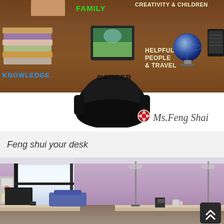[Figure (infographic): Top-down feng shui desk diagram with labeled zones: FAMILY (top-left, green text), CREATIVITY & CHILDREN (top-right), KNOWLEDGE (bottom-left, blue text), CAREER (bottom-center, black text), HELPFUL PEOPLE & TRAVEL (bottom-right). Globe, books, small monitor on desk. Chair visible below desk. Ms. Feng Shai logo with red flower icon at bottom-right.]
Feng shui your desk
[Figure (photo): Interior office room with mauve/purple painted walls, large window on the left letting in natural light, two desks, office chairs, floor lamps, and computer equipment visible.]